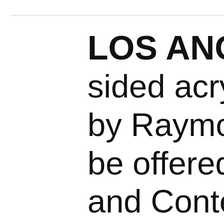LOS ANGELES sided acrylic pa by Raymond Pe be offered in Bo and Contempor place February Angeles Amon